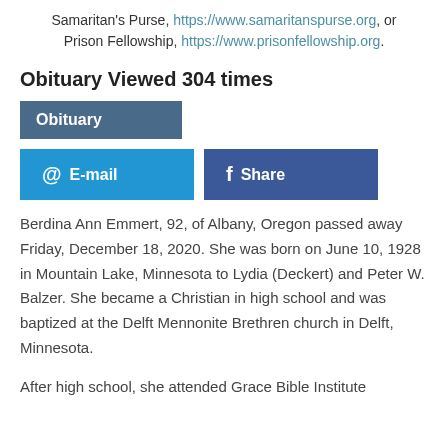Samaritan's Purse, https://www.samaritanspurse.org, or Prison Fellowship, https://www.prisonfellowship.org.
Obituary Viewed 304 times
Obituary
@ E-mail   f Share
Berdina Ann Emmert, 92, of Albany, Oregon passed away Friday, December 18, 2020. She was born on June 10, 1928 in Mountain Lake, Minnesota to Lydia (Deckert) and Peter W. Balzer. She became a Christian in high school and was baptized at the Delft Mennonite Brethren church in Delft, Minnesota.
After high school, she attended Grace Bible Institute